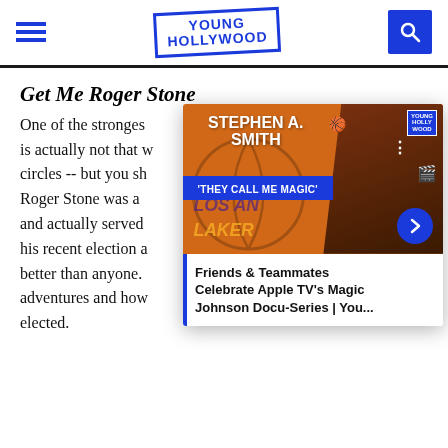Young Hollywood
Get Me Roger Stone
One of the strongest players in Republican politics is actually not that well known in mainstream circles -- but you should know his name. Roger Stone was a longtime political consultant and actually served time in prison before his recent election adventures. He knows the game better than anyone. This film covers his adventures and how Trump ended up getting elected.
[Figure (screenshot): Overlay video card showing Stephen A. Smith with text 'THEY CALL ME MAGIC' and caption 'Friends & Teammates Celebrate Apple TV's Magic Johnson Docu-Series | You...']
Blame
Blame is an impressive feat, considering its writer,